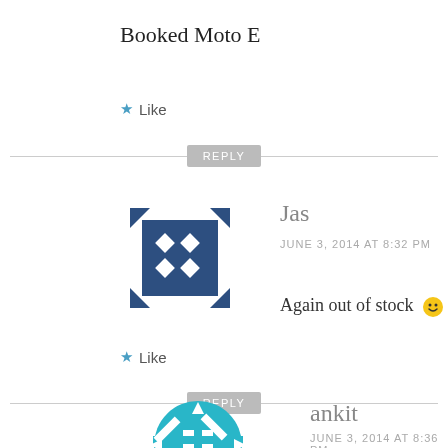Booked Moto E
★ Like
REPLY
[Figure (illustration): Dark blue avatar icon with diamond shapes in a grid pattern and arrow-like corners, belonging to user Jas]
Jas
JUNE 3, 2014 AT 8:32 PM
Again out of stock 🙂
★ Like
REPLY
[Figure (illustration): Light blue snowflake/asterisk avatar icon for user ankit]
ankit
JUNE 3, 2014 AT 8:36 PM